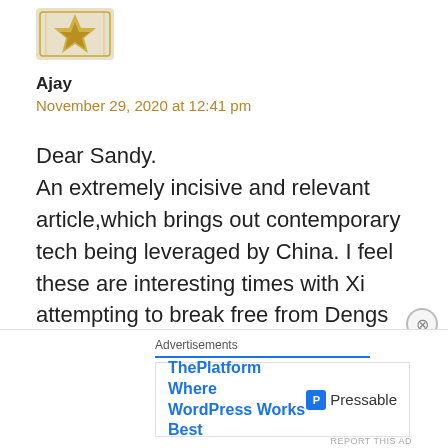[Figure (logo): Golden decorative star/badge avatar icon]
Ajay
November 29, 2020 at 12:41 pm
Dear Sandy.
An extremely incisive and relevant article,which brings out contemporary tech being leveraged by China. I feel these are interesting times with Xi attempting to break free from Dengs policy of bide your time. He serms to be in a hurry to announce the arrival of China
Advertisements
ThePlatform Where WordPress Works Best